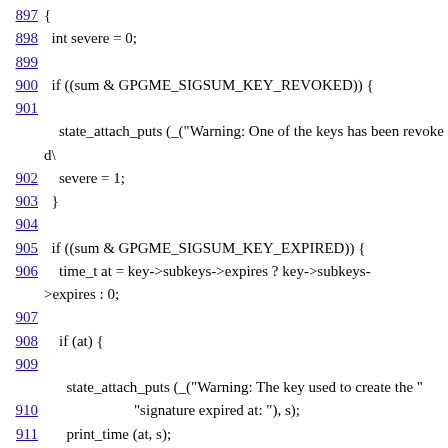897 {
898   int severe = 0;
899
900   if ((sum & GPGME_SIGSUM_KEY_REVOKED)) {
901
      state_attach_puts (_("Warning: One of the keys has been revoked\
902     severe = 1;
903   }
904
905   if ((sum & GPGME_SIGSUM_KEY_EXPIRED)) {
906     time_t at = key->subkeys->expires ? key->subkeys->expires : 0;
907
908     if (at) {
909
        state_attach_puts (_("Warning: The key used to create the "
910                          "signature expired at: "), s);
911       print_time (at, s);
912       state_attach_puts ("\n", s);
913     }
914     else
915
        state_attach_puts (_("Warning: At least one certification key "
916                          "has expired\n"), s);
917   }